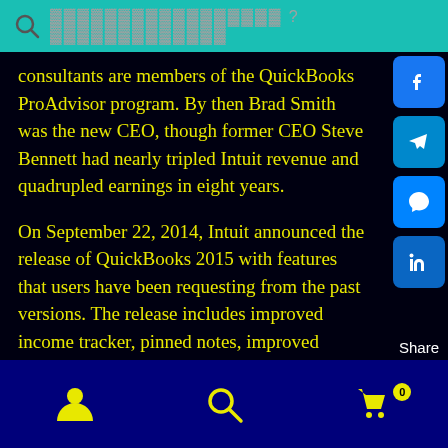[Figure (screenshot): Search bar with teal background and search icon with obfuscated placeholder text]
consultants are members of the QuickBooks ProAdvisor program. By then Brad Smith was the new CEO, though former CEO Steve Bennett had nearly tripled Intuit revenue and quadrupled earnings in eight years.
On September 22, 2014, Intuit announced the release of QuickBooks 2015 with features that users have been requesting from the past versions. The release includes improved income tracker, pinned notes, improved registration process and insights on homepage.
In September 2015, Intuit released QuickBooks 2016 that contains several improvements to the existing ones
[Figure (screenshot): Social share buttons: Facebook, Telegram, Messenger, LinkedIn with Share label]
[Figure (screenshot): Bottom navigation bar with person icon, search icon, and cart icon with badge 0]